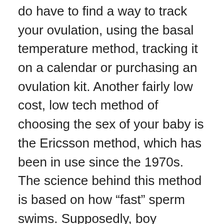do have to find a way to track your ovulation, using the basal temperature method, tracking it on a calendar or purchasing an ovulation kit. Another fairly low cost, low tech method of choosing the sex of your baby is the Ericsson method, which has been in use since the 1970s. The science behind this method is based on how “fast” sperm swims. Supposedly, boy producing sperm swims faster than girl producing sperm. A sperm sample is separated by which sperm get to the bottom of the dish first. Depending upon which gender is desired, the boy or girl sperm is then inserted into the woman using artificial insemination (AI). Proponents of the Ericsson method claim that it is around 78% to 85% effective in producing